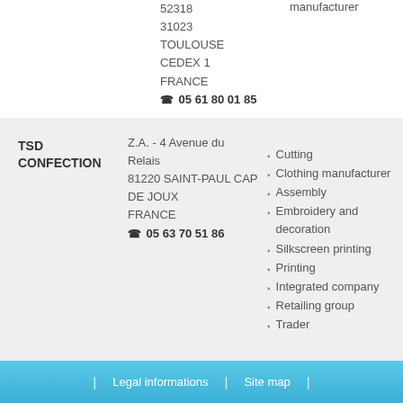52318
31023
TOULOUSE
CEDEX 1
FRANCE
☎ 05 61 80 01 85
manufacturer
TSD CONFECTION
Z.A. - 4 Avenue du Relais
81220 SAINT-PAUL CAP DE JOUX
FRANCE
☎ 05 63 70 51 86
Cutting
Clothing manufacturer
Assembly
Embroidery and decoration
Silkscreen printing
Printing
Integrated company
Retailing group
Trader
Legal informations | Site map